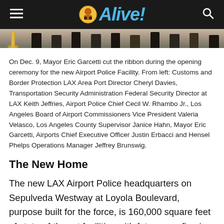Alive!
[Figure (photo): Cropped photo showing legs and feet of people standing at a ribbon cutting ceremony, with a gold ceremonial stand visible on the left.]
On Dec. 9, Mayor Eric Garcetti cut the ribbon during the opening ceremony for the new Airport Police Facility. From left: Customs and Border Protection LAX Area Port Director Cheryl Davies, Transportation Security Administration Federal Security Director at LAX Keith Jeffries, Airport Police Chief Cecil W. Rhambo Jr., Los Angeles Board of Airport Commissioners Vice President Valeria Velasco, Los Angeles County Supervisor Janice Hahn, Mayor Eric Garcetti, Airports Chief Executive Officer Justin Erbacci and Hensel Phelps Operations Manager Jeffrey Brunswig.
The New Home
The new LAX Airport Police headquarters on Sepulveda Westway at Loyola Boulevard, purpose built for the force, is 160,000 square feet of state-of-the-art facilities with future proofing in mind. Built to LEED Silver certification and Title XXIV energy use